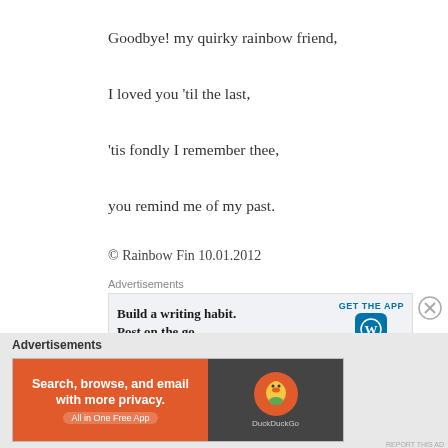Goodbye! my quirky rainbow friend,
I loved you 'til the last,
'tis fondly I remember thee,
you remind me of my past.
© Rainbow Fin 10.01.2012
Advertisements
[Figure (other): WordPress ad: Build a writing habit. Post on the go. GET THE APP with WordPress logo]
Advertisements
[Figure (other): DuckDuckGo ad: Search, browse, and email with more privacy. All in One Free App]